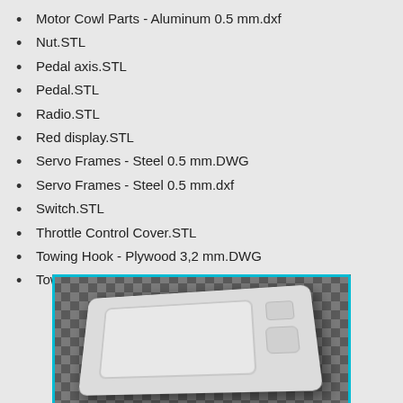Motor Cowl Parts - Aluminum 0.5 mm.dxf
Nut.STL
Pedal axis.STL
Pedal.STL
Radio.STL
Red display.STL
Servo Frames - Steel 0.5 mm.DWG
Servo Frames - Steel 0.5 mm.dxf
Switch.STL
Throttle Control Cover.STL
Towing Hook - Plywood 3,2 mm.DWG
Towing Hook - Plywood 3,2 mm.dxf
[Figure (photo): 3D rendered image of a white plastic throttle control cover part sitting on a dark checkered surface, with a cyan/teal border glow around the image edges.]